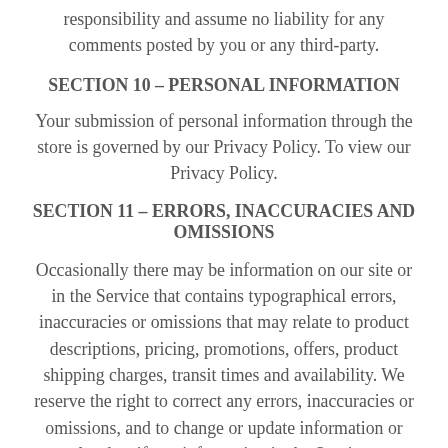responsibility and assume no liability for any comments posted by you or any third-party.
SECTION 10 – PERSONAL INFORMATION
Your submission of personal information through the store is governed by our Privacy Policy. To view our Privacy Policy.
SECTION 11 – ERRORS, INACCURACIES AND OMISSIONS
Occasionally there may be information on our site or in the Service that contains typographical errors, inaccuracies or omissions that may relate to product descriptions, pricing, promotions, offers, product shipping charges, transit times and availability. We reserve the right to correct any errors, inaccuracies or omissions, and to change or update information or cancel orders if any information in the Service or on